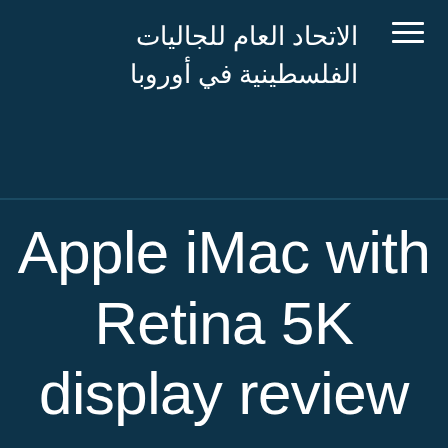الاتحاد العام للجاليات الفلسطينية في أوروبا
Apple iMac with Retina 5K display review